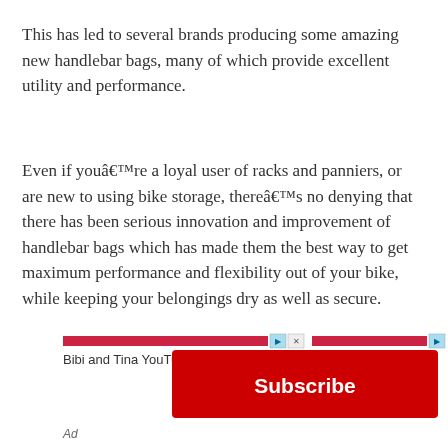This has led to several brands producing some amazing new handlebar bags, many of which provide excellent utility and performance.
Even if youâ€™re a loyal user of racks and panniers, or are new to using bike storage, thereâ€™s no denying that there has been serious innovation and improvement of handlebar bags which has made them the best way to get maximum performance and flexibility out of your bike, while keeping your belongings dry as well as secure.
[Figure (other): YouTube advertisement banner for 'Bibi and Tina YouTube Channel' with a red Subscribe button and ad icons]